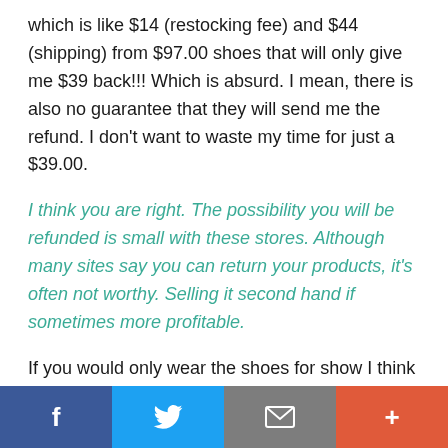which is like $14 (restocking fee) and $44 (shipping) from $97.00 shoes that will only give me $39 back!!! Which is absurd. I mean, there is also no guarantee that they will send me the refund. I don't want to waste my time for just a $39.00.
I think you are right. The possibility you will be refunded is small with these stores. Although many sites say you can return your products, it's often not worthy. Selling it second hand if sometimes more profitable.
If you would only wear the shoes for show I think it's fine but if you wear it for basketball games then I don't think it will last. But still, I don't
Social share bar with Facebook, Twitter, Email, and Plus buttons